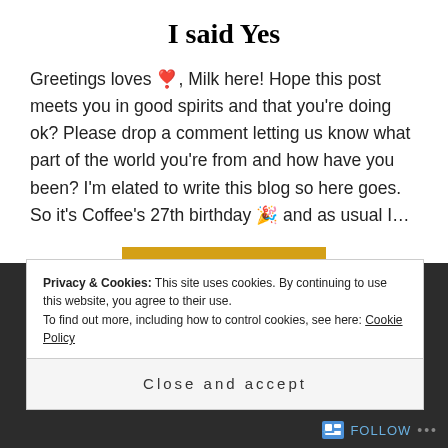I said Yes
Greetings loves 💕, Milk here! Hope this post meets you in good spirits and that you're doing ok? Please drop a comment letting us know what part of the world you're from and how have you been? I'm elated to write this blog so here goes. So it's Coffee's 27th birthday 🎉 and as usual I…
READ MORE
Privacy & Cookies: This site uses cookies. By continuing to use this website, you agree to their use.
To find out more, including how to control cookies, see here: Cookie Policy
Close and accept
Follow  ...